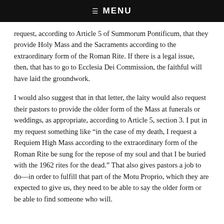☰ MENU
request, according to Article 5 of Summorum Pontificum, that they provide Holy Mass and the Sacraments according to the extraordinary form of the Roman Rite. If there is a legal issue, then, that has to go to Ecclesia Dei Commission, the faithful will have laid the groundwork.
I would also suggest that in that letter, the laity would also request their pastors to provide the older form of the Mass at funerals or weddings, as appropriate, according to Article 5, section 3. I put in my request something like “in the case of my death, I request a Requiem High Mass according to the extraordinary form of the Roman Rite be sung for the repose of my soul and that I be buried with the 1962 rites for the dead.” That also gives pastors a job to do—in order to fulfill that part of the Motu Proprio, which they are expected to give us, they need to be able to say the older form or be able to find someone who will.